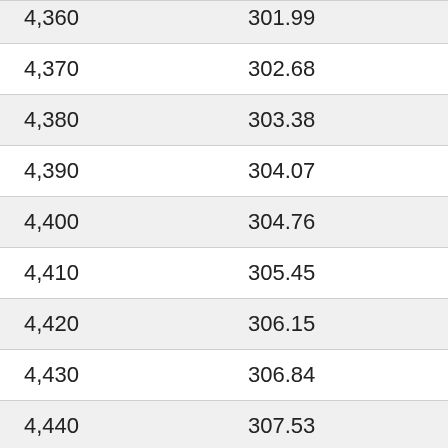| 4,360 | 301.99 |
| 4,370 | 302.68 |
| 4,380 | 303.38 |
| 4,390 | 304.07 |
| 4,400 | 304.76 |
| 4,410 | 305.45 |
| 4,420 | 306.15 |
| 4,430 | 306.84 |
| 4,440 | 307.53 |
| 4,450 | 308.23 |
| 4,460 | 308.92 |
| 4,470 | 309.61 |
| 4,480 | 310.30 |
| 4,490 | 311.00 |